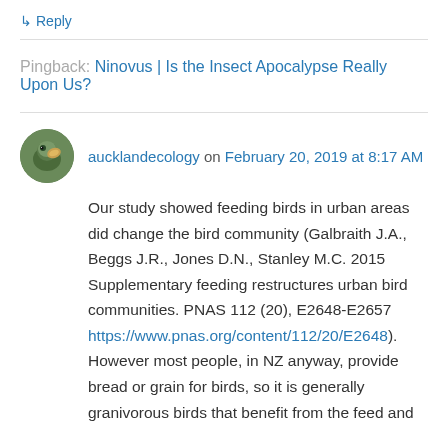↳ Reply
Pingback: Ninovus | Is the Insect Apocalypse Really Upon Us?
aucklandecology on February 20, 2019 at 8:17 AM
Our study showed feeding birds in urban areas did change the bird community (Galbraith J.A., Beggs J.R., Jones D.N., Stanley M.C. 2015 Supplementary feeding restructures urban bird communities. PNAS 112 (20), E2648-E2657 https://www.pnas.org/content/112/20/E2648). However most people, in NZ anyway, provide bread or grain for birds, so it is generally granivorous birds that benefit from the feed and